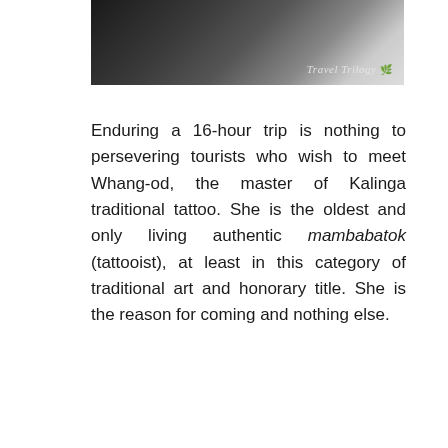[Figure (photo): A dark close-up photograph with Travel Trilogy logo/watermark in the bottom right corner]
Enduring a 16-hour trip is nothing to persevering tourists who wish to meet Whang-od, the master of Kalinga traditional tattoo. She is the oldest and only living authentic mambabatok (tattooist), at least in this category of traditional art and honorary title. She is the reason for coming and nothing else.